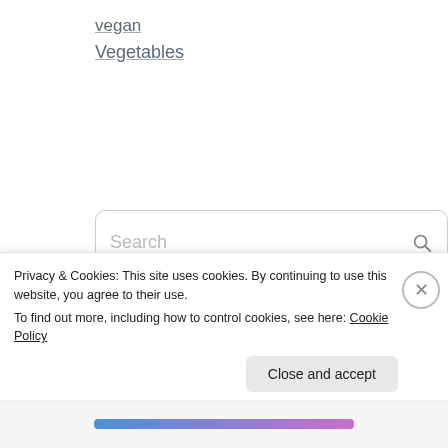vegan
Vegetables
[Figure (screenshot): Search input box with placeholder text 'Search' and a magnifying glass icon on the right]
#DPchallenge advent All Saints' Day anticipation of christmas apples artic circle autumn baptism berries berry picking birthday birthday parties birthday
Privacy & Cookies: This site uses cookies. By continuing to use this website, you agree to their use.
To find out more, including how to control cookies, see here: Cookie Policy
Close and accept